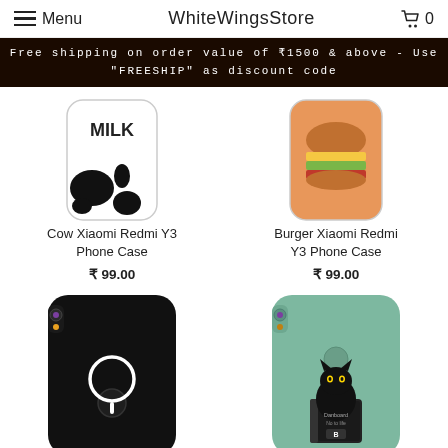Menu | WhiteWingsStore | Cart 0
Free shipping on order value of ₹1500 & above - Use "FREESHIP" as discount code
[Figure (photo): Cow print Xiaomi Redmi Y3 phone case with MILK text]
Cow Xiaomi Redmi Y3 Phone Case
₹ 99.00
[Figure (photo): Burger illustration Xiaomi Redmi Y3 phone case]
Burger Xiaomi Redmi Y3 Phone Case
₹ 99.00
[Figure (photo): Black Xiaomi Redmi Y3 phone case with white circle logo]
[Figure (photo): Teal/mint green Xiaomi Redmi Y3 phone case with cat reading a book]